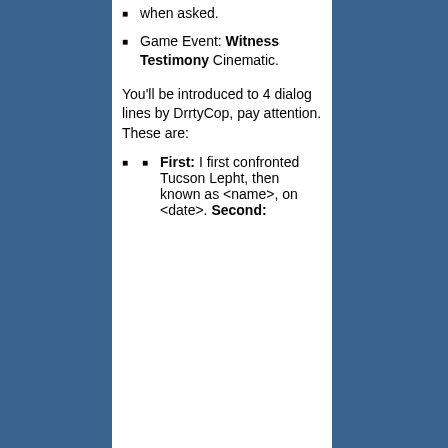when asked.
Game Event: Witness Testimony Cinematic.
You'll be introduced to 4 dialog lines by DrrtyCop, pay attention. These are:
First: I first confronted Tucson Lepht, then known as <name>, on <date>. Second: